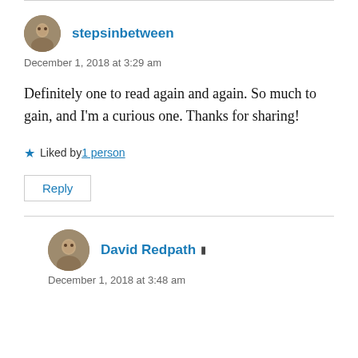stepsinbetween
December 1, 2018 at 3:29 am
Definitely one to read again and again. So much to gain, and I’m a curious one. Thanks for sharing!
★ Liked by 1 person
Reply
David Redpath
December 1, 2018 at 3:48 am